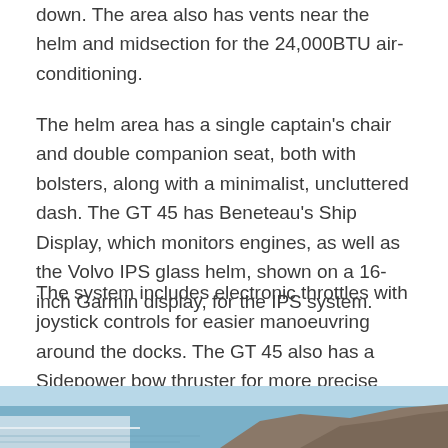down. The area also has vents near the helm and midsection for the 24,000BTU air-conditioning.
The helm area has a single captain's chair and double companion seat, both with bolsters, along with a minimalist, uncluttered dash. The GT 45 has Beneteau's Ship Display, which monitors engines, as well as the Volvo IPS glass helm, shown on a 16-inch Garmin display, for the IPS system.
The system includes electronic throttles with joystick controls for easier manoeuvring around the docks. The GT 45 also has a Sidepower bow thruster for more precise control in big winds or currents. On this unit, the Volvo 600s produce 440hp for each engine.
[Figure (photo): Partial photo of a boat on water near rocky coastline, visible at the bottom of the page]